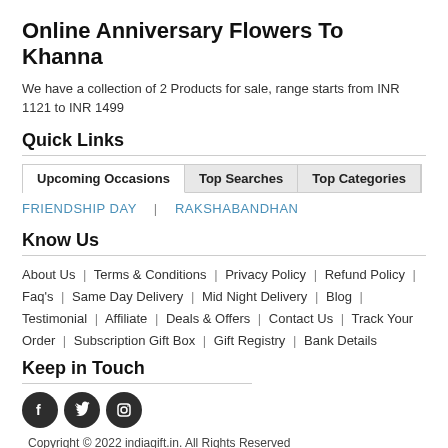Online Anniversary Flowers To Khanna
We have a collection of 2 Products for sale, range starts from INR 1121 to INR 1499
Quick Links
Upcoming Occasions | Top Searches | Top Categories
FRIENDSHIP DAY | RAKSHABANDHAN
Know Us
About Us | Terms & Conditions | Privacy Policy | Refund Policy | Faq's | Same Day Delivery | Mid Night Delivery | Blog | Testimonial | Affiliate | Deals & Offers | Contact Us | Track Your Order | Subscription Gift Box | Gift Registry | Bank Details
Keep in Touch
[Figure (other): Social media icons: Facebook, Twitter, Instagram]
Copyright © 2022 indiagift.in. All Rights Reserved